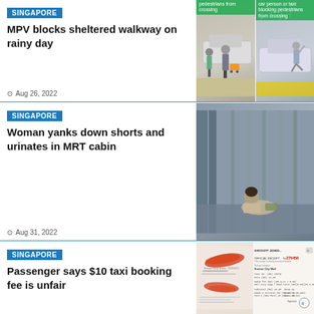SINGAPORE
MPV blocks sheltered walkway on rainy day
Aug 26, 2022
[Figure (photo): Two side-by-side photos showing an MPV blocking a sheltered walkway, with pedestrians unable to cross. Caption reads: car person or taxi blocking pedestrians from crossing]
SINGAPORE
Woman yanks down shorts and urinates in MRT cabin
Aug 31, 2022
[Figure (photo): Photo of a woman crouching on the floor of an MRT cabin near the platform doors]
SINGAPORE
Passenger says $10 taxi booking fee is unfair
[Figure (photo): Photo showing a taxi receipt with official receipt number 276458 and details including SHD2537P_200820, Suntec City Mall, with red stamp/signature overlay]